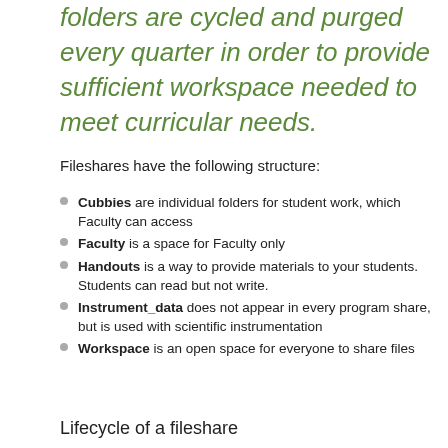folders are cycled and purged every quarter in order to provide sufficient workspace needed to meet curricular needs.
Fileshares have the following structure:
Cubbies are individual folders for student work, which Faculty can access
Faculty is a space for Faculty only
Handouts is a way to provide materials to your students. Students can read but not write.
Instrument_data does not appear in every program share, but is used with scientific instrumentation
Workspace is an open space for everyone to share files
Lifecycle of a fileshare